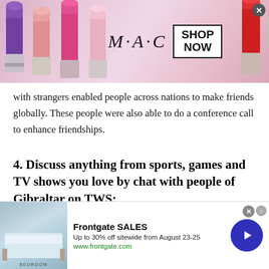[Figure (screenshot): MAC cosmetics advertisement banner with lipsticks on left and right, MAC logo text in center, SHOP NOW box on right, close button top right]
with strangers enabled people across nations to make friends globally. These people were also able to do a conference call to enhance friendships.
4. Discuss anything from sports, games and TV shows you love by chat with people of Gibraltar on TWS:
At Talkwithstranger, there is no restriction or limitation over the topic you can talk to. It does not matter what you want to discuss. You can discuss
[Figure (screenshot): Frontgate SALES advertisement banner: bedroom image on left, text 'Frontgate SALES Up to 30% off sitewide from August 23-25 www.frontgate.com', blue circle arrow button on right, close button]